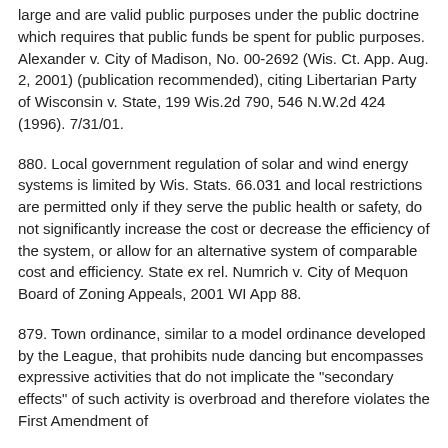large and are valid public purposes under the public doctrine which requires that public funds be spent for public purposes. Alexander v. City of Madison, No. 00-2692 (Wis. Ct. App. Aug. 2, 2001) (publication recommended), citing Libertarian Party of Wisconsin v. State, 199 Wis.2d 790, 546 N.W.2d 424 (1996). 7/31/01.
880. Local government regulation of solar and wind energy systems is limited by Wis. Stats. 66.031 and local restrictions are permitted only if they serve the public health or safety, do not significantly increase the cost or decrease the efficiency of the system, or allow for an alternative system of comparable cost and efficiency. State ex rel. Numrich v. City of Mequon Board of Zoning Appeals, 2001 WI App 88.
879. Town ordinance, similar to a model ordinance developed by the League, that prohibits nude dancing but encompasses expressive activities that do not implicate the "secondary effects" of such activity is overbroad and therefore violates the First Amendment of